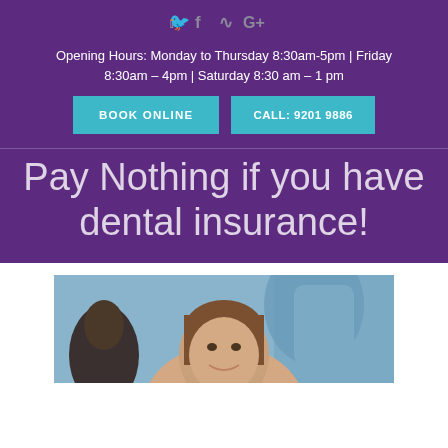[Figure (infographic): Social media icons: Twitter, Facebook, RSS, Google+]
Opening Hours: Monday to Thursday 8:30am-5pm | Friday 8:30am – 4pm | Saturday 8:30 am – 1 pm
BOOK ONLINE
CALL: 9201 9886
Pay Nothing if you have dental insurance!
[Figure (photo): A young woman smiling in a dental chair, with dental staff in the background wearing blue scrubs]